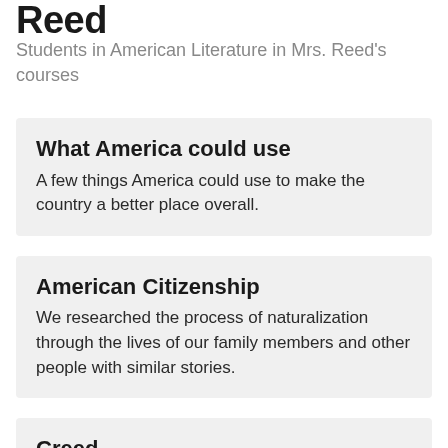Reed
Students in American Literature in Mrs. Reed's courses
What America could use
A few things America could use to make the country a better place overall.
American Citizenship
We researched the process of naturalization through the lives of our family members and other people with similar stories.
Creed